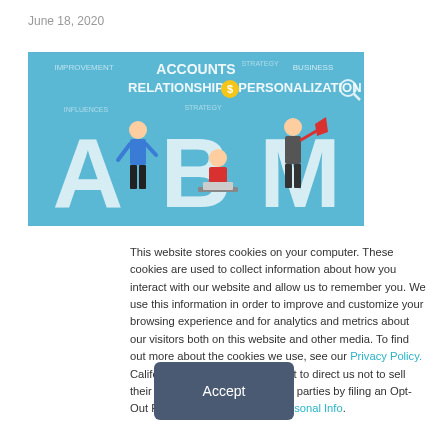June 18, 2020
[Figure (illustration): ABM (Account Based Marketing) illustration on blue background with large letters A, B, M and cartoon business people figures, with words: ACCOUNTS, RELATIONSHIP, PERSONALIZATION, BUSINESS, IMPROVEMENT, INFLUENCES, STRATEGY, CLIENT, STRATEGY]
This website stores cookies on your computer. These cookies are used to collect information about how you interact with our website and allow us to remember you. We use this information in order to improve and customize your browsing experience and for analytics and metrics about our visitors both on this website and other media. To find out more about the cookies we use, see our Privacy Policy. California residents have the right to direct us not to sell their personal information to third parties by filing an Opt-Out Request: Do Not Sell My Personal Info.